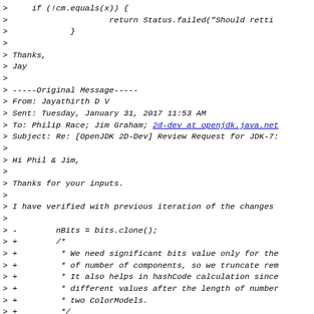> if (!cm.equals(x)) {
>                     return Status.failed("Should rett
>             }
>
> Thanks,
> Jay
>
> -----Original Message-----
> From: Jayathirth D V
> Sent: Tuesday, January 31, 2017 11:53 AM
> To: Philip Race; Jim Graham; 2d-dev at openjdk.java.ne
> Subject: Re: [OpenJDK 2D-Dev] Review Request for JDK-7:
>
> Hi Phil & Jim,
>
> Thanks for your inputs.
>
> I have verified with previous iteration of the changes
>
> -        nBits = bits.clone();
> +        /*
> +         * We need significant bits value only for the
> +         * of number of components, so we truncate rem
> +         * It also helps in hashCode calculation since
> +         * different values after the length of number
> +         * two ColorModels.
> +         */
> +        nBits = Arrays.copyOf(bits, numComponents);
>
> #2 and #3 would fail from the time we have removed equa
> Collectively all of them are failing right now so we be